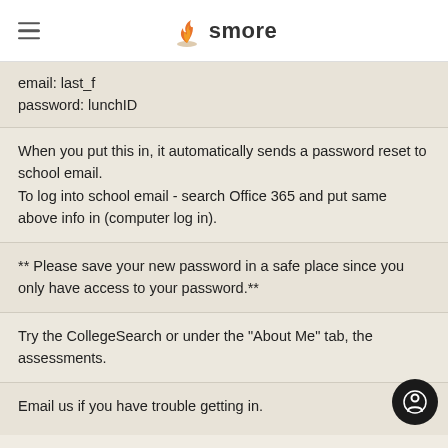smore
email: last_f
password: lunchID
When you put this in, it automatically sends a password reset to school email.
To log into school email - search Office 365 and put same above info in (computer log in).
** Please save your new password in a safe place since you only have access to your password.**
Try the CollegeSearch or under the "About Me" tab, the assessments.
Email us if you have trouble getting in.